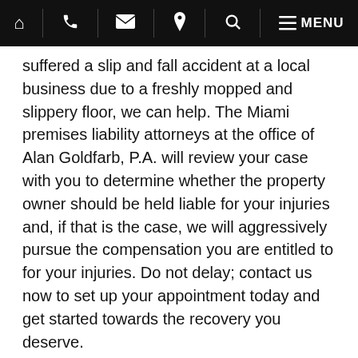Navigation bar with home, phone, email, location, search, and menu icons
suffered a slip and fall accident at a local business due to a freshly mopped and slippery floor, we can help. The Miami premises liability attorneys at the office of Alan Goldfarb, P.A. will review your case with you to determine whether the property owner should be held liable for your injuries and, if that is the case, we will aggressively pursue the compensation you are entitled to for your injuries. Do not delay; contact us now to set up your appointment today and get started towards the recovery you deserve.
Resources:
leg.state.fl.us/Statutes/index.cfm?App_mode=Display_Statute&Search_String=&URL=0700-